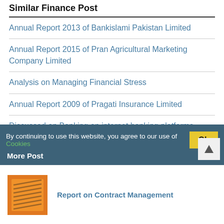Similar Finance Post
Annual Report 2013 of Bankislami Pakistan Limited
Annual Report 2015 of Pran Agricultural Marketing Company Limited
Analysis on Managing Financial Stress
Annual Report 2009 of Pragati Insurance Limited
Discussed on Banking on internet banking platforms
Explain all about Financial Spread Betting
By continuing to use this website, you agree to our use of Cookies
More Post
[Figure (photo): Orange book cover thumbnail]
Report on Contract Management